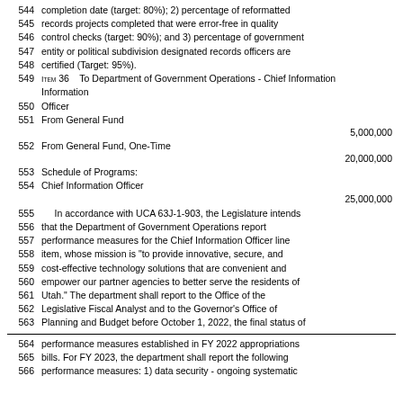544  completion date (target: 80%); 2) percentage of reformatted
545  records projects completed that were error-free in quality
546  control checks (target: 90%); and 3) percentage of government
547  entity or political subdivision designated records officers are
548  certified (Target: 95%).
549  Item 36   To Department of Government Operations - Chief Information
550  Officer
551  From General Fund
5,000,000
552  From General Fund, One-Time
20,000,000
553  Schedule of Programs:
554  Chief Information Officer
25,000,000
555  In accordance with UCA 63J-1-903, the Legislature intends
556  that the Department of Government Operations report
557  performance measures for the Chief Information Officer line
558  item, whose mission is "to provide innovative, secure, and
559  cost-effective technology solutions that are convenient and
560  empower our partner agencies to better serve the residents of
561  Utah." The department shall report to the Office of the
562  Legislative Fiscal Analyst and to the Governor's Office of
563  Planning and Budget before October 1, 2022, the final status of
564  performance measures established in FY 2022 appropriations
565  bills. For FY 2023, the department shall report the following
566  performance measures: 1) data security - ongoing systematic